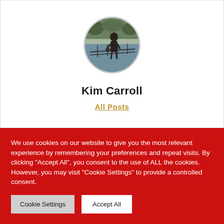[Figure (photo): Circular profile photo of a person standing near a railing with water/trees in the background]
Kim Carroll
All Posts
We use cookies on our website to give you the most relevant experience by remembering your preferences and repeat visits. By clicking "Accept All", you consent to the use of ALL the cookies. However, you may visit "Cookie Settings" to provide a controlled consent.
Cookie Settings | Accept All